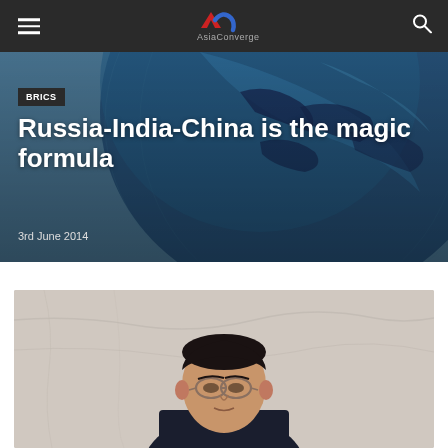AsiaConverge navigation header
[Figure (photo): Globe photo used as hero background image showing Asia region in blue tones]
BRICS
Russia-India-China is the magic formula
3rd June 2014
[Figure (photo): Portrait photo of a man wearing glasses and a dark suit, seated in front of a marble-textured background]